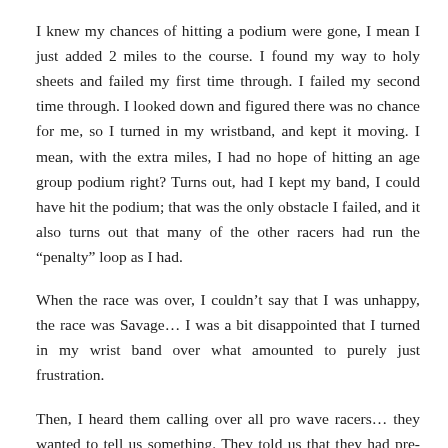I knew my chances of hitting a podium were gone, I mean I just added 2 miles to the course. I found my way to holy sheets and failed my first time through. I failed my second time through. I looked down and figured there was no chance for me, so I turned in my wristband, and kept it moving. I mean, with the extra miles, I had no hope of hitting an age group podium right? Turns out, had I kept my band, I could have hit the podium; that was the only obstacle I failed, and it also turns out that many of the other racers had run the “penalty” loop as I had.
When the race was over, I couldn’t say that I was unhappy, the race was Savage… I was a bit disappointed that I turned in my wrist band over what amounted to purely just frustration.
Then, I heard them calling over all pro wave racers… they wanted to tell us something. They told us that they had pre-run the course and had gotten lost too. They thought they had